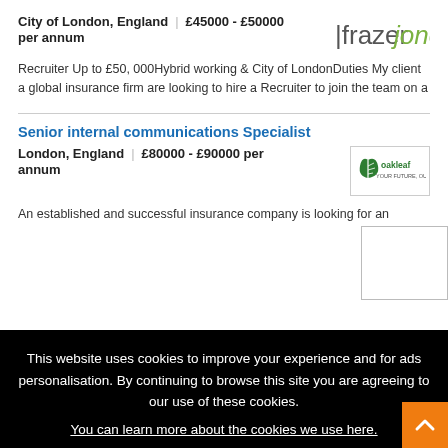City of London, England | £45000 - £50000 per annum
[Figure (logo): Frazer Jones recruiter logo — vertical bar followed by 'frazer' in grey and 'jones' in green italic]
Recruiter Up to £50, 000Hybrid working & City of LondonDuties My client a global insurance firm are looking to hire a Recruiter to join the team on a
Senior internal communications Specialist
London, England | £80000 - £90000 per annum
[Figure (logo): Oakleaf Partnership logo — green leaf icon with company name]
An established and successful insurance company is looking for an ... firm
This website uses cookies to improve your experience and for ads personalisation. By continuing to browse this site you are agreeing to our use of these cookies. You can learn more about the cookies we use here.
OK